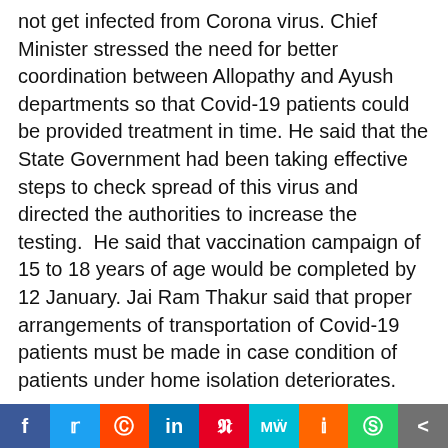not get infected from Corona virus. Chief Minister stressed the need for better coordination between Allopathy and Ayush departments so that Covid-19 patients could be provided treatment in time. He said that the State Government had been taking effective steps to check spread of this virus and directed the authorities to increase the testing.  He said that vaccination campaign of 15 to 18 years of age would be completed by 12 January. Jai Ram Thakur said that proper arrangements of transportation of Covid-19 patients must be made in case condition of patients under home isolation deteriorates.
Chief Minister also directed the Deputy Commissioners to ensure proper restoration of roads, power supply and drinking water supply particularly in snow bound areas. He said that special thrust must be laid on restoration of all major roads and roads leading to health institutions. He
f  Twitter  Reddit  in  Pinterest  MW  Mix  WhatsApp  Share